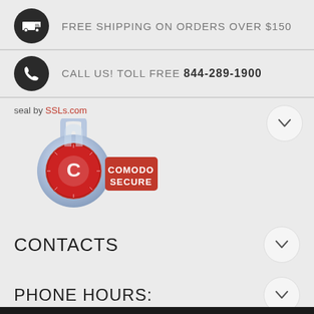FREE SHIPPING ON ORDERS OVER $150
CALL US! TOLL FREE  844-289-1900
[Figure (logo): Comodo Secure SSL seal badge with padlock and red banner]
CONTACTS
PHONE HOURS:
Mon - Thurs: 9:00 - 6:00
Friday: 9:00 - 5:00